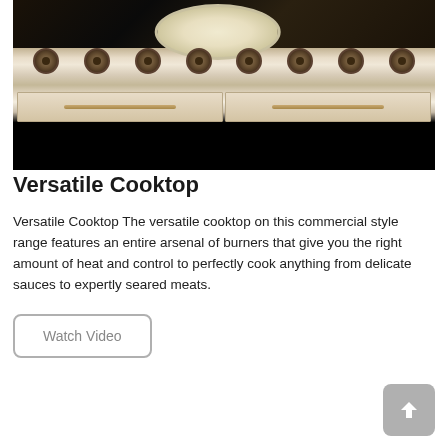[Figure (photo): Commercial style kitchen range with multiple brass/bronze burner knobs, two drawer compartments with bronze handles, a white pan with food on top of the cooktop, and a black lower section. The image shows a premium cooktop/range appliance.]
Versatile Cooktop
Versatile Cooktop The versatile cooktop on this commercial style range features an entire arsenal of burners that give you the right amount of heat and control to perfectly cook anything from delicate sauces to expertly seared meats.
Watch Video